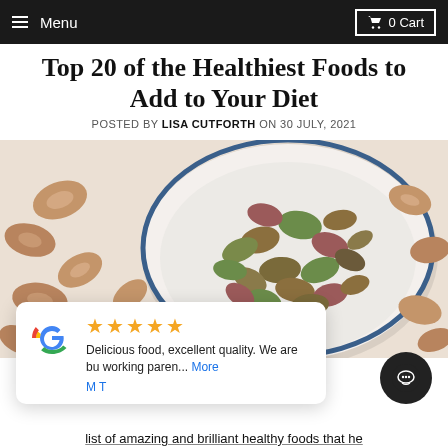Menu  0 Cart
Top 20 of the Healthiest Foods to Add to Your Diet
POSTED BY LISA CUTFORTH ON 30 JULY, 2021
[Figure (photo): Overhead photo of pistachios in a white bowl with blue rim, surrounded by pistachio shells on a white cloth surface]
★★★★★ Delicious food, excellent quality. We are bu working paren... More M T
list of amazing and brilliant healthy foods that he